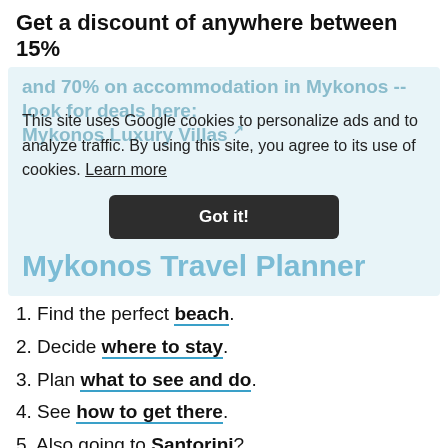Get a discount of anywhere between 15%
and 70% on accommodation in Mykonos -- look for deals here: Mykonos Luxury Villas
This site uses Google cookies to personalize ads and to analyze traffic. By using this site, you agree to its use of cookies. Learn more
Got it!
Mykonos Travel Planner
1. Find the perfect beach.
2. Decide where to stay.
3. Plan what to see and do.
4. See how to get there.
5. Also going to Santorini?